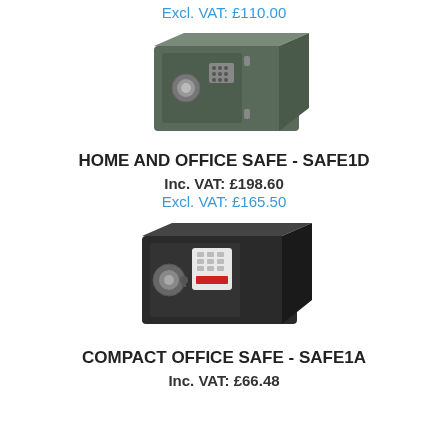Excl. VAT: £110.00
[Figure (photo): Dark grey electronic home and office safe with digital keypad on the front]
HOME AND OFFICE SAFE - SAFE1D
Inc. VAT: £198.60
Excl. VAT: £165.50
[Figure (photo): Dark/black compact office safe with electronic keypad and key lock on the front]
COMPACT OFFICE SAFE - SAFE1A
Inc. VAT: £66.48